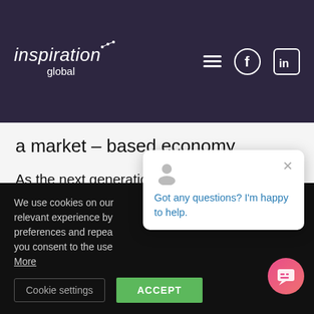[Figure (logo): Inspiration Global logo with stylized text and dots, white on dark purple background, with hamburger menu, Facebook, and LinkedIn icons]
a market – based economy.
As the next generation of healthcare consumers takes over, providers must improve how they engage with
We use cookies on our relevant experience by preferences and repea you consent to the use More
Got any questions? I'm happy to help.
Cookie settings
ACCEPT